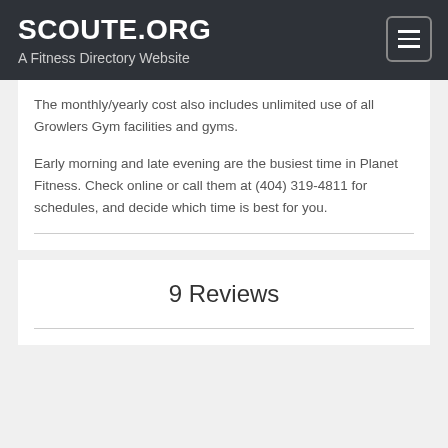SCOUTE.ORG
A Fitness Directory Website
The monthly/yearly cost also includes unlimited use of all Growlers Gym facilities and gyms.
Early morning and late evening are the busiest time in Planet Fitness. Check online or call them at (404) 319-4811 for schedules, and decide which time is best for you.
9 Reviews